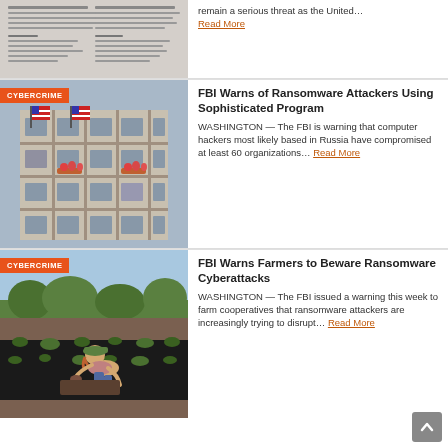[Figure (photo): Partial top of page showing a document page image cropped]
remain a serious threat as the United…
Read More
[Figure (photo): Photo of an apartment building exterior with American flags, labeled CYBERCRIME]
FBI Warns of Ransomware Attackers Using Sophisticated Program
WASHINGTON — The FBI is warning that computer hackers most likely based in Russia have compromised at least 60 organizations… Read More
[Figure (photo): Photo of a woman farming/planting in a field, labeled CYBERCRIME]
FBI Warns Farmers to Beware Ransomware Cyberattacks
WASHINGTON — The FBI issued a warning this week to farm cooperatives that ransomware attackers are increasingly trying to disrupt… Read More